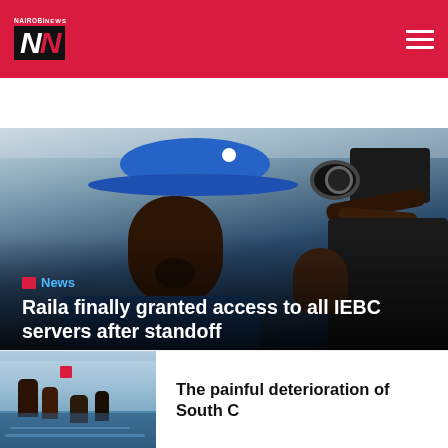Nairobi News
[Figure (photo): Man wearing a blue hat looking down, with a camera operator behind him filming]
News
Raila finally granted access to all IEBC servers after standoff
[Figure (photo): Flooded area with people wading through water in South C]
The painful deterioration of South C